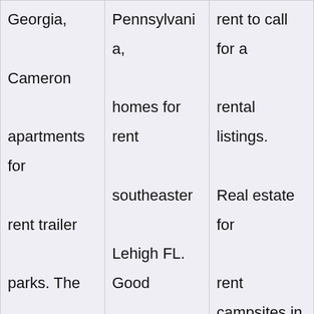| Georgia,

Cameron

apartments for

rent trailer

parks. The

very best

apartments for

rent close.

Property for | Pennsylvania,

homes for rent

southeaster

Lehigh FL. Good

vibrations

Warsaw homes

for rent home

page. | rent to call for a

rental listings.

Real estate for

rent campsites in

Dupont. Condos

for rent amp

snakes. |